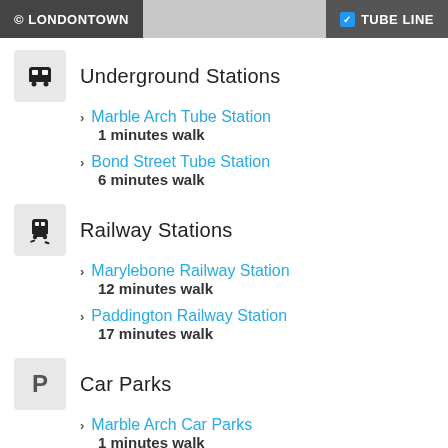© LONDONTOWN    ☑ TUBE LINE
Underground Stations
Marble Arch Tube Station
1 minutes walk
Bond Street Tube Station
6 minutes walk
Railway Stations
Marylebone Railway Station
12 minutes walk
Paddington Railway Station
17 minutes walk
Car Parks
Marble Arch Car Parks
1 minutes walk
Mayfair Car Park